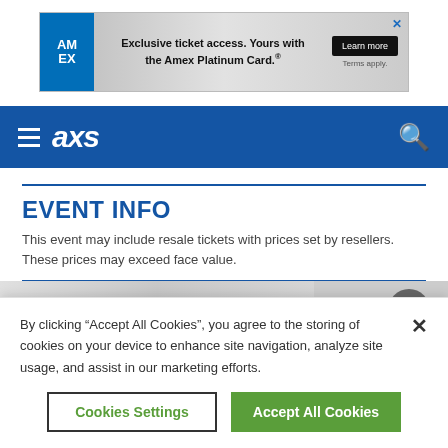[Figure (other): American Express advertisement banner: Exclusive ticket access. Yours with the Amex Platinum Card. Learn more button. Terms apply.]
axs navigation bar with hamburger menu and search icon
EVENT INFO
This event may include resale tickets with prices set by resellers. These prices may exceed face value.
[Figure (photo): Partial event image strip showing gray background with circular dark object on right]
By clicking “Accept All Cookies”, you agree to the storing of cookies on your device to enhance site navigation, analyze site usage, and assist in our marketing efforts.